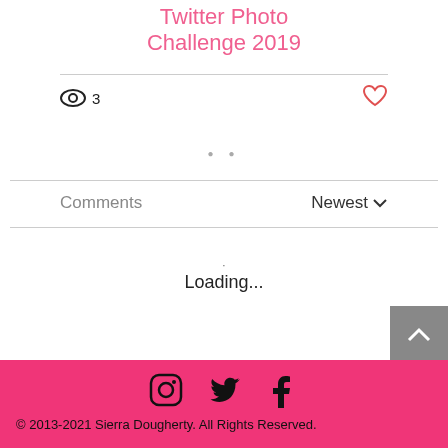Twitter Photo Challenge 2019
3 views · 0 likes
· ·
Comments
Newest ∨
Loading...
© 2013-2021 Sierra Dougherty.  All Rights Reserved.